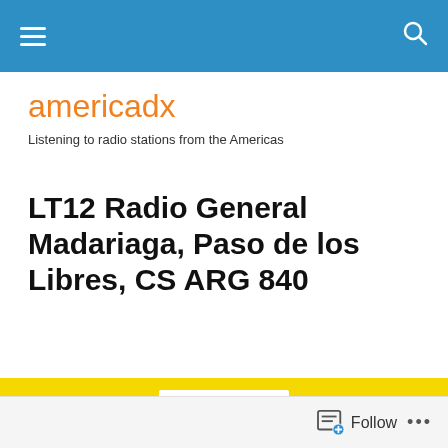americadx navigation bar
americadx
Listening to radio stations from the Americas
LT12 Radio General Madariaga, Paso de los Libres, CS ARG 840
[Figure (logo): LT12 radio station logo on yellow background with 'celebramos' text and blue circle dots pattern]
Follow